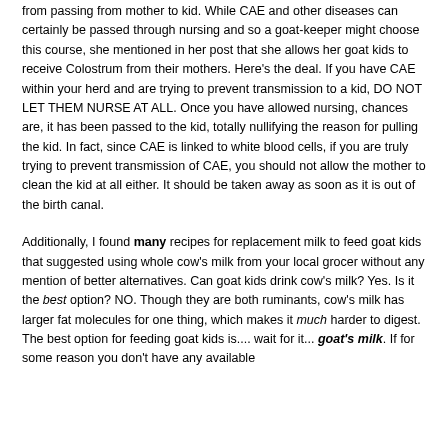from passing from mother to kid. While CAE and other diseases can certainly be passed through nursing and so a goat-keeper might choose this course, she mentioned in her post that she allows her goat kids to receive Colostrum from their mothers. Here's the deal. If you have CAE within your herd and are trying to prevent transmission to a kid, DO NOT LET THEM NURSE AT ALL. Once you have allowed nursing, chances are, it has been passed to the kid, totally nullifying the reason for pulling the kid. In fact, since CAE is linked to white blood cells, if you are truly trying to prevent transmission of CAE, you should not allow the mother to clean the kid at all either. It should be taken away as soon as it is out of the birth canal.
Additionally, I found many recipes for replacement milk to feed goat kids that suggested using whole cow's milk from your local grocer without any mention of better alternatives. Can goat kids drink cow's milk? Yes. Is it the best option? NO. Though they are both ruminants, cow's milk has larger fat molecules for one thing, which makes it much harder to digest. The best option for feeding goat kids is.... wait for it... goat's milk. If for some reason you don't have any available